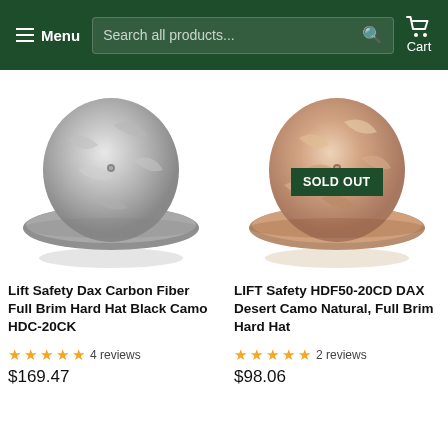Menu  Search all products...  Cart
[Figure (photo): Lift Safety Dax Carbon Fiber Full Brim Hard Hat Black Camo HDC-20CK — silver/grey geometric camo patterned hard hat]
[Figure (photo): LIFT Safety HDF50-20CD DAX Desert Camo Natural Full Brim Hard Hat — brown/tan desert camo patterned hard hat with SOLD OUT badge]
Lift Safety Dax Carbon Fiber Full Brim Hard Hat Black Camo HDC-20CK
★★★★★ 4 reviews
$169.47
LIFT Safety HDF50-20CD DAX Desert Camo Natural, Full Brim Hard Hat
★★★★★ 2 reviews
$98.06